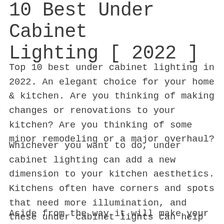10 Best Under Cabinet Lighting [ 2022 ]
Top 10 best under cabinet lighting in 2022. An elegant choice for your home & kitchen. Are you thinking of making changes or renovations to your kitchen? Are you thinking of some minor remodeling or a major overhaul?
Whichever you want to do, under cabinet lighting can add a new dimension to your kitchen aesthetics. Kitchens often have corners and spots that need more illumination, and these under cabinet lights can help you light up these dark areas.
Aside from the way it will make your kitchen